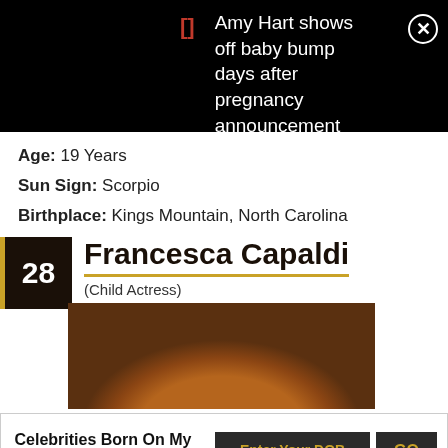Amy Hart shows off baby bump days after pregnancy announcement
Age: 19 Years
Sun Sign: Scorpio
Birthplace: Kings Mountain, North Carolina
28 Francesca Capaldi (Child Actress)
[Figure (photo): Top portion of a child actress with reddish-brown hair against a gray background]
Celebrities Born On My Birthday? Enter Your DOB GO